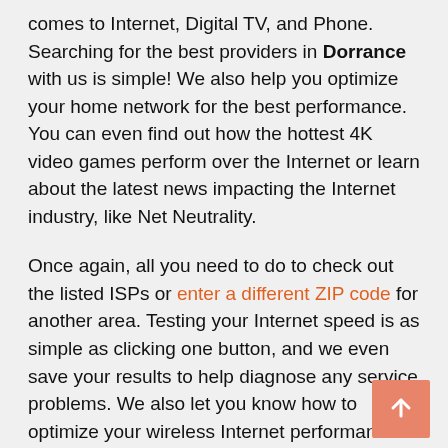comes to Internet, Digital TV, and Phone. Searching for the best providers in Dorrance with us is simple! We also help you optimize your home network for the best performance. You can even find out how the hottest 4K video games perform over the Internet or learn about the latest news impacting the Internet industry, like Net Neutrality.
Once again, all you need to do to check out the listed ISPs or enter a different ZIP code for another area. Testing your Internet speed is as simple as clicking one button, and we even save your results to help diagnose any service problems. We also let you know how to optimize your wireless Internet performance. We know all about fiber Internet, how to find a phone plan with unlimited data, and more. Get the most out of your Internet access without data caps!